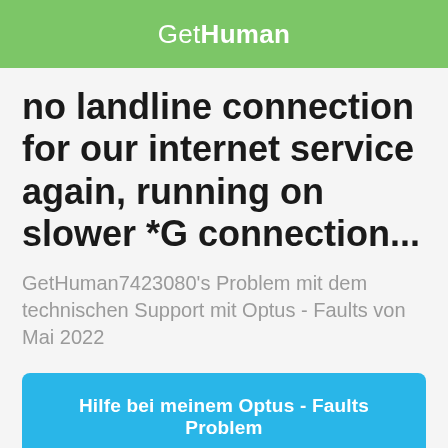GetHuman
no landline connection for our internet service again, running on slower *G connection...
GetHuman7423080's Problem mit dem technischen Support mit Optus - Faults von Mai 2022
Hilfe bei meinem Optus - Faults Problem
First: share to improve GetHuman7423080's